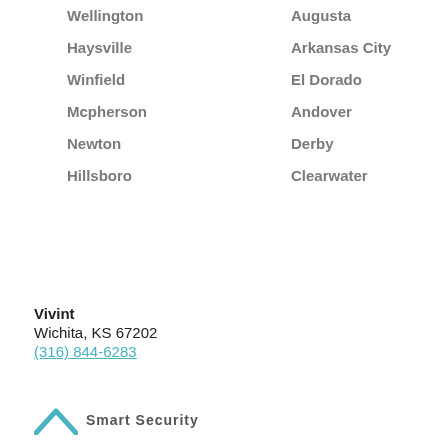Wellington
Augusta
Haysville
Arkansas City
Winfield
El Dorado
Mcpherson
Andover
Newton
Derby
Hillsboro
Clearwater
Vivint
Wichita, KS 67202
(316) 844-6283
[Figure (logo): Vivint company logo with teal chevron/roof shape and partial company name text]